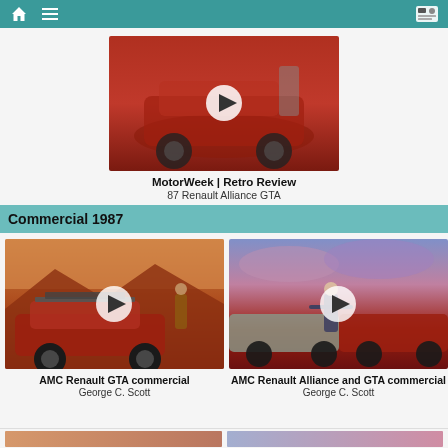Navigation bar with home, menu, and profile icons
[Figure (screenshot): Video thumbnail of red Renault Alliance GTA car, with play button overlay]
MotorWeek | Retro Review
87 Renault Alliance GTA
Commercial 1987
[Figure (screenshot): Video thumbnail of red AMC Renault GTA with roof rack in desert sunset scene, with play button overlay]
AMC Renault GTA commercial
George C. Scott
[Figure (screenshot): Video thumbnail of woman standing between cars at sunset, AMC Renault Alliance and GTA commercial, with play button overlay]
AMC Renault Alliance and GTA commercial
George C. Scott